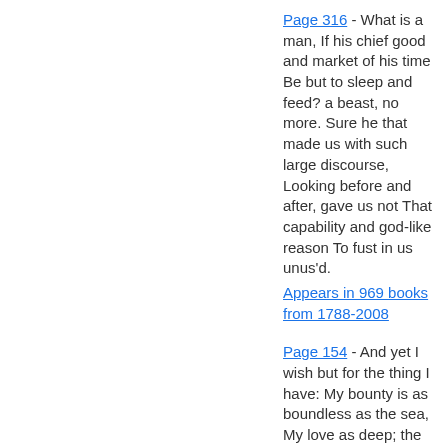Page 316 - What is a man, If his chief good and market of his time Be but to sleep and feed? a beast, no more. Sure he that made us with such large discourse, Looking before and after, gave us not That capability and god-like reason To fust in us unus'd. Appears in 969 books from 1788-2008
Page 154 - And yet I wish but for the thing I have: My bounty is as boundless as the sea, My love as deep; the more I give to thee, The more I have, for both are infinite.